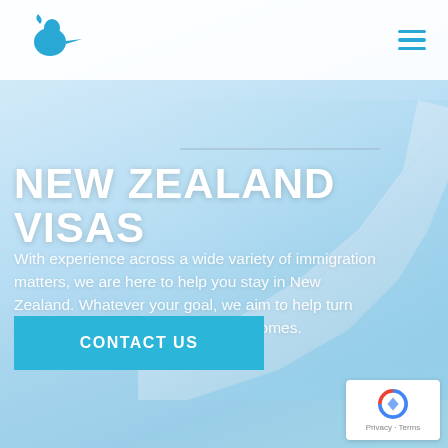[Figure (screenshot): Website screenshot: New Zealand immigration visa service page with airplane wing background, logo top-left, hamburger menu top-right, large white title text, descriptive paragraph, teal contact button, and reCAPTCHA badge bottom-right.]
NEW ZEALAND VISAS
With experience across a wide variety of immigration matters, we are here to help you stay in New Zealand. Whatever your goal, we aim to help turn complex issues into successful outcomes.
CONTACT US
Privacy · Terms